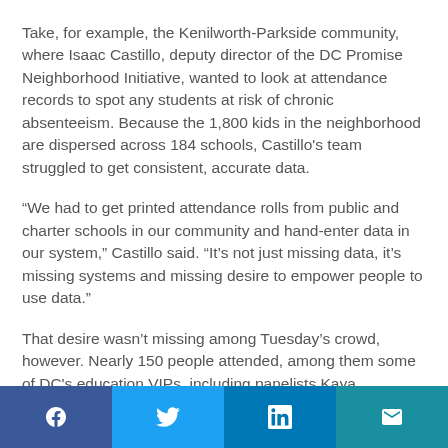Take, for example, the Kenilworth-Parkside community, where Isaac Castillo, deputy director of the DC Promise Neighborhood Initiative, wanted to look at attendance records to spot any students at risk of chronic absenteeism. Because the 1,800 kids in the neighborhood are dispersed across 184 schools, Castillo's team struggled to get consistent, accurate data.
“We had to get printed attendance rolls from public and charter schools in our community and hand-enter data in our system,” Castillo said. “It’s not just missing data, it’s missing systems and missing desire to empower people to use data.”
That desire wasn’t missing among Tuesday’s crowd, however. Nearly 150 people attended, among them some of DC’s education VIPs, including panelists Kaya Henderson,
Social share bar with Facebook, Twitter, LinkedIn, Email buttons